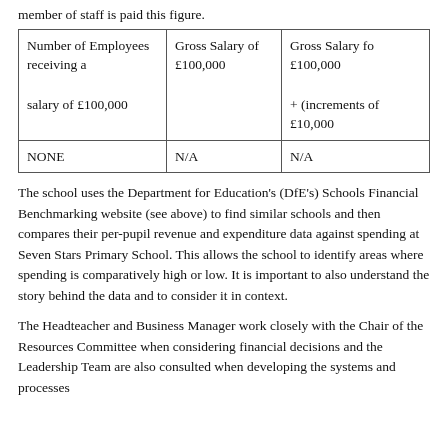member of staff is paid this figure.
| Number of Employees receiving a salary of £100,000 | Gross Salary of £100,000 | Gross Salary fo £100,000 + (increments of £10,000 |
| --- | --- | --- |
| NONE | N/A | N/A |
The school uses the Department for Education's (DfE's) Schools Financial Benchmarking website (see above) to find similar schools and then compares their per-pupil revenue and expenditure data against spending at Seven Stars Primary School. This allows the school to identify areas where spending is comparatively high or low. It is important to also understand the story behind the data and to consider it in context.
The Headteacher and Business Manager work closely with the Chair of the Resources Committee when considering financial decisions and the Leadership Team are also consulted when developing the systems and processes